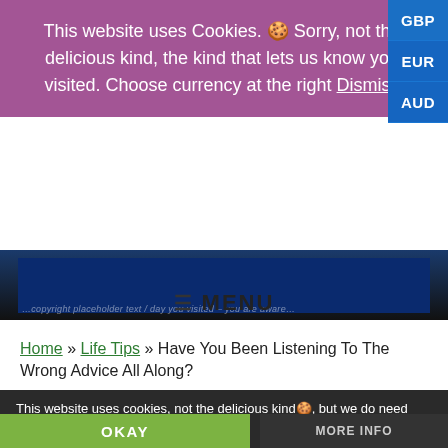This website uses Cookies. 🍪 Sorry, not the delicious kind, the kind that lets us know you visited. Choose currency at the right Dismiss
GBP
EUR
AUD
[Figure (screenshot): Dark blue website header image strip with faint italic text]
≡ MENU
Home » Life Tips » Have You Been Listening To The Wrong Advice All Along?
This website uses cookies, not the delicious kind🍪, but we do need your consent. Click Okay to continue.
OKAY
MORE INFO